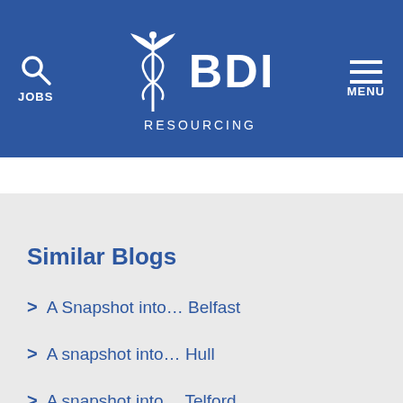JOBS | BDI RESOURCING | MENU
Similar Blogs
> A Snapshot into… Belfast
> A snapshot into… Hull
> A snapshot into… Telford
> A snapshot into … Huddersfield
> A snapshot into… Salford
We use cookies to give you the best experience on our website. Click here for more information.
Got it
Our Blog Categories